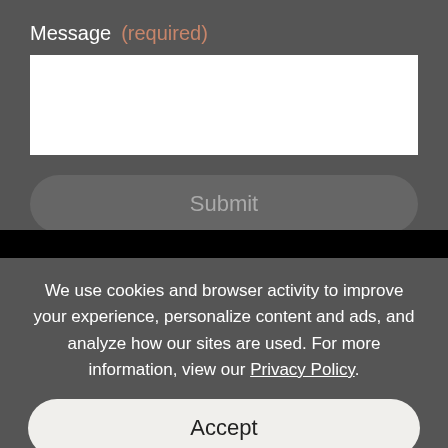Message (required)
Submit
We use cookies and browser activity to improve your experience, personalize content and ads, and analyze how our sites are used. For more information, view our Privacy Policy.
Accept